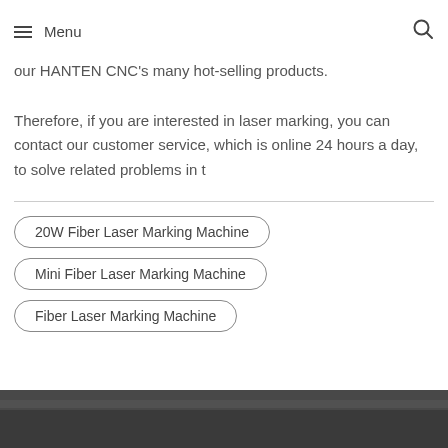≡ Menu
our HANTEN CNC's many hot-selling products. Therefore, if you are interested in laser marking, you can contact our customer service, which is online 24 hours a day, to solve related problems in t
20W Fiber Laser Marking Machine
Mini Fiber Laser Marking Machine
Fiber Laser Marking Machine
[Figure (photo): Dark photo of industrial machinery at the bottom of the page]